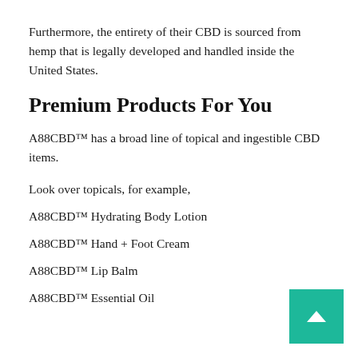Furthermore, the entirety of their CBD is sourced from hemp that is legally developed and handled inside the United States.
Premium Products For You
A88CBD™ has a broad line of topical and ingestible CBD items.
Look over topicals, for example,
A88CBD™ Hydrating Body Lotion
A88CBD™ Hand + Foot Cream
A88CBD™ Lip Balm
A88CBD™ Essential Oil